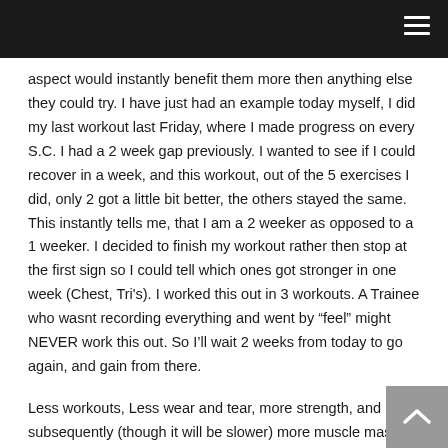aspect would instantly benefit them more then anything else they could try. I have just had an example today myself, I did my last workout last Friday, where I made progress on every S.C. I had a 2 week gap previously. I wanted to see if I could recover in a week, and this workout, out of the 5 exercises I did, only 2 got a little bit better, the others stayed the same. This instantly tells me, that I am a 2 weeker as opposed to a 1 weeker. I decided to finish my workout rather then stop at the first sign so I could tell which ones got stronger in one week (Chest, Tri's). I worked this out in 3 workouts. A Trainee who wasnt recording everything and went by “feel” might NEVER work this out. So I’ll wait 2 weeks from today to go again, and gain from there.
Less workouts, Less wear and tear, more strength, and subsequently (though it will be slower) more muscle mass